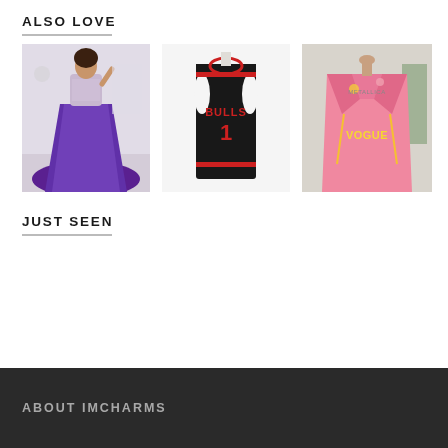ALSO LOVE
[Figure (photo): Woman wearing a purple ball gown with embellished top]
[Figure (photo): Black sleeveless jersey dress with BULLS 1 print on white background]
[Figure (photo): Pink jacket with VOGUE text and embellishments]
JUST SEEN
ABOUT IMCHARMS